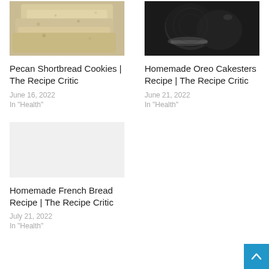[Figure (photo): Stacked pecan shortbread cookies, light tan/golden, top-down view]
Pecan Shortbread Cookies | The Recipe Critic
June 16, 2022
In "Health"
[Figure (photo): Dark chocolate sandwich cookies (Oreo Cakesters) on dark background]
Homemade Oreo Cakesters Recipe | The Recipe Critic
June 21, 2022
In "Health"
[Figure (photo): Homemade French bread loaf (image area appears blank/not loaded)]
Homemade French Bread Recipe | The Recipe Critic
July 21, 2022
In "Health"